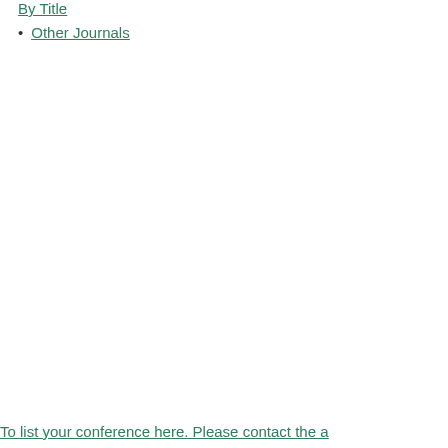By Title
Other Journals
To list your conference here. Please contact the a